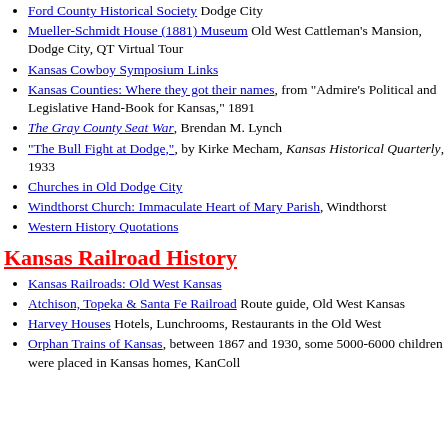Ford County Historical Society Dodge City
Mueller-Schmidt House (1881) Museum Old West Cattleman's Mansion, Dodge City, QT Virtual Tour
Kansas Cowboy Symposium Links
Kansas Counties: Where they got their names, from "Admire's Political and Legislative Hand-Book for Kansas," 1891
The Gray County Seat War, Brendan M. Lynch
"The Bull Fight at Dodge," by Kirke Mecham, Kansas Historical Quarterly, 1933
Churches in Old Dodge City
Windthorst Church: Immaculate Heart of Mary Parish, Windthorst
Western History Quotations
Kansas Railroad History
Kansas Railroads: Old West Kansas
Atchison, Topeka & Santa Fe Railroad Route guide, Old West Kansas
Harvey Houses Hotels, Lunchrooms, Restaurants in the Old West
Orphan Trains of Kansas, between 1867 and 1930, some 5000-6000 children were placed in Kansas homes, KanColl